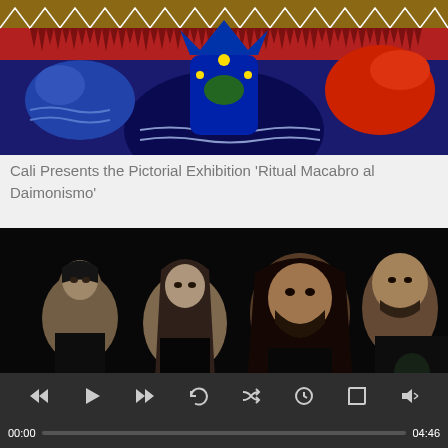[Figure (illustration): Colorful folk art / ritualistic painting featuring stylized figures with blue, red, and gold tones, with decorative patterns and bird-like creatures]
Cali Presents the Pictorial Exhibition ‘Ritual Macabro al Daimonismo’
[Figure (photo): Band photo of four men posed against a dark/black background; appears to be a metal band promotional photo]
35. Pathology - ‘As The Entrails Wither’ son from ‘The Everlasting Plague’ CD
00:00   04:46